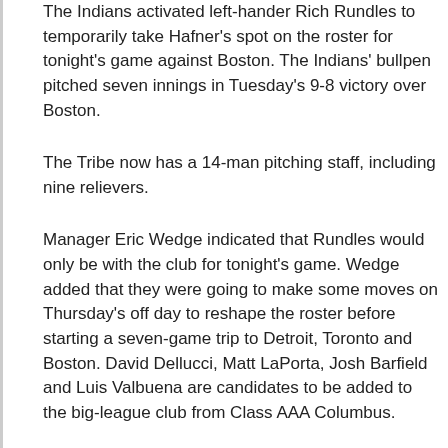The Indians activated left-hander Rich Rundles to temporarily take Hafner's spot on the roster for tonight's game against Boston. The Indians' bullpen pitched seven innings in Tuesday's 9-8 victory over Boston.
The Tribe now has a 14-man pitching staff, including nine relievers.
Manager Eric Wedge indicated that Rundles would only be with the club for tonight's game. Wedge added that they were going to make some moves on Thursday's off day to reshape the roster before starting a seven-game trip to Detroit, Toronto and Boston. David Dellucci, Matt LaPorta, Josh Barfield and Luis Valbuena are candidates to be added to the big-league club from Class AAA Columbus.
Dellucci (left calf) is on a rehab assignment.